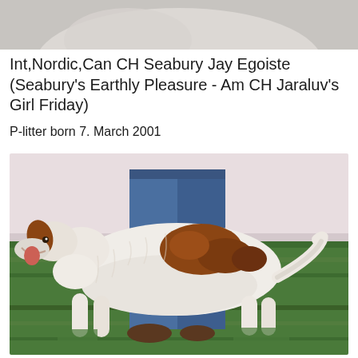[Figure (photo): Partial top photo showing a light-colored dog or animal, cropped at top of page]
Int,Nordic,Can CH Seabury Jay Egoiste (Seabury's Earthly Pleasure - Am CH Jaraluv's Girl Friday)
P-litter born 7. March 2001
[Figure (photo): A white fluffy dog with brown patches (likely a Borzoi) standing on grass with a person in jeans visible behind it. The dog is facing left with its mouth open.]